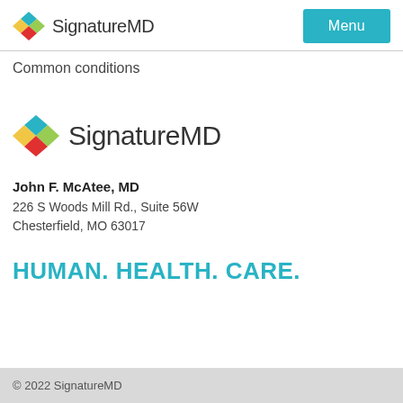SignatureMD  Menu
Common conditions
[Figure (logo): SignatureMD logo with colored diamond icon and text]
John F. McAtee, MD
226 S Woods Mill Rd., Suite 56W
Chesterfield, MO 63017
HUMAN. HEALTH. CARE.
© 2022 SignatureMD